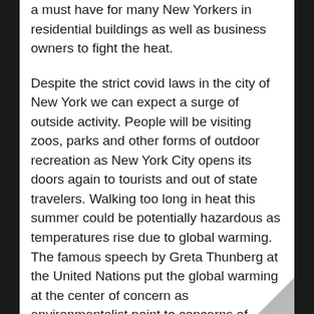a must have for many New Yorkers in residential buildings as well as business owners to fight the heat.
Despite the strict covid laws in the city of New York we can expect a surge of outside activity. People will be visiting zoos, parks and other forms of outdoor recreation as New York City opens its doors again to tourists and out of state travelers. Walking too long in heat this summer could be potentially hazardous as temperatures rise due to global warming. The famous speech by Greta Thunberg at the United Nations put the global warming at the center of concern as environmentalist point to concerns of energy expenditure and growing CO2 admissions placed into the atmosphere by growing economies.